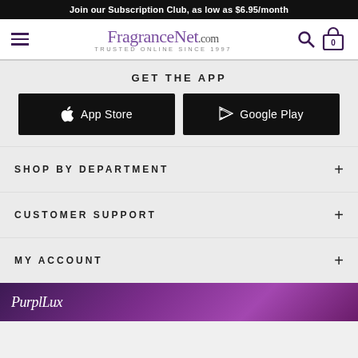Join our Subscription Club, as low as $6.95/month
[Figure (logo): FragranceNet.com logo with hamburger menu, search icon, and cart icon (0 items)]
GET THE APP
[Figure (screenshot): Black App Store button with Apple logo icon]
[Figure (screenshot): Black Google Play button with Android icon]
SHOP BY DEPARTMENT
CUSTOMER SUPPORT
MY ACCOUNT
[Figure (illustration): PurplLux promotional banner with purple gradient background]